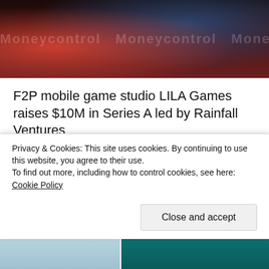[Figure (photo): Hero image showing mobile gaming scene with colorful action characters, a car, and a hand holding a phone. Moneycontrol watermark overlaid.]
F2P mobile game studio LILA Games raises $10M in Series A led by Rainfall Ventures
[Figure (screenshot): TruEra dashboard interface showing model monitoring graphs for Credit Risk and Insurance Telematics with an Alerts panel on the right.]
Privacy & Cookies: This site uses cookies. By continuing to use this website, you agree to their use.
To find out more, including how to control cookies, see here: Cookie Policy
Close and accept